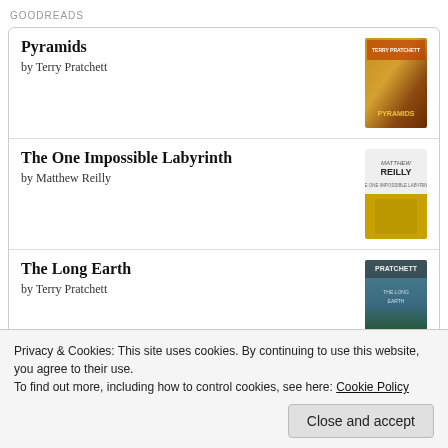GOODREADS
Pyramids by Terry Pratchett
The One Impossible Labyrinth by Matthew Reilly
The Long Earth by Terry Pratchett
Hell Island by Matthew Reilly
Privacy & Cookies: This site uses cookies. By continuing to use this website, you agree to their use.
To find out more, including how to control cookies, see here: Cookie Policy
Close and accept